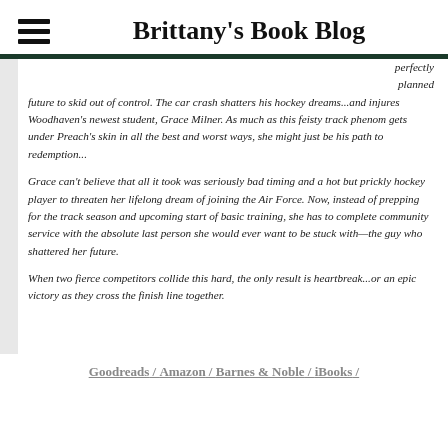Brittany's Book Blog
perfectly planned future to skid out of control. The car crash shatters his hockey dreams...and injures Woodhaven's newest student, Grace Milner. As much as this feisty track phenom gets under Preach's skin in all the best and worst ways, she might just be his path to redemption...
Grace can't believe that all it took was seriously bad timing and a hot but prickly hockey player to threaten her lifelong dream of joining the Air Force. Now, instead of prepping for the track season and upcoming start of basic training, she has to complete community service with the absolute last person she would ever want to be stuck with—the guy who shattered her future.
When two fierce competitors collide this hard, the only result is heartbreak...or an epic victory as they cross the finish line together.
Goodreads / Amazon / Barnes & Noble / iBooks /